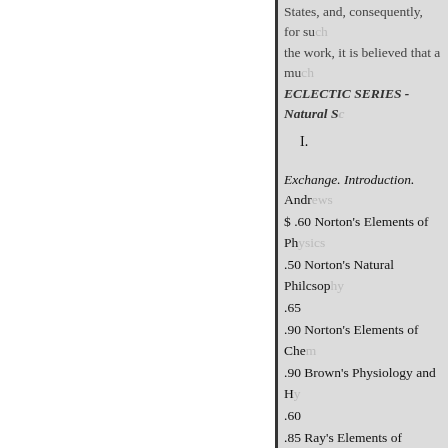States, and, consequently, for su[ch]
the work, it is believed that a mu[ch]
ECLECTIC SERIES - Natural S[cience]
I.
Exchange. Introduction. Andr[ews]
$ .60 Norton's Elements of Ph[ysics]
.50 Norton's Natural Philcsop[hy]
.65
.90 Norton's Elements of Che[mistry]
.90 Brown's Physiology and H[ygiene]
.60
.85 Ray's Elements of Astron[omy]
.75
1.00 ECLECTIC GEOGRAPH[Y]
.45 Eclectic Ceography, No. 2
.90 FOR HIGHER SCHOOLS